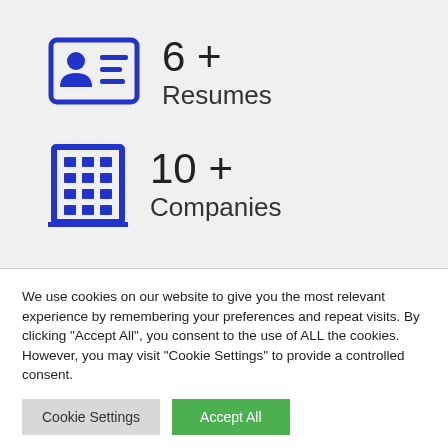[Figure (infographic): Blue resume/ID card icon with person silhouette and lines representing text]
6 + Resumes
[Figure (infographic): Blue building/office icon with grid of windows]
10 + Companies
We use cookies on our website to give you the most relevant experience by remembering your preferences and repeat visits. By clicking "Accept All", you consent to the use of ALL the cookies. However, you may visit "Cookie Settings" to provide a controlled consent.
Cookie Settings
Accept All